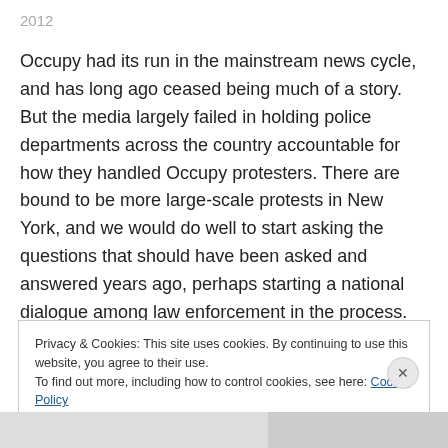2012
Occupy had its run in the mainstream news cycle, and has long ago ceased being much of a story. But the media largely failed in holding police departments across the country accountable for how they handled Occupy protesters. There are bound to be more large-scale protests in New York, and we would do well to start asking the questions that should have been asked and answered years ago, perhaps starting a national dialogue among law enforcement in the process.
Privacy & Cookies: This site uses cookies. By continuing to use this website, you agree to their use.
To find out more, including how to control cookies, see here: Cookie Policy